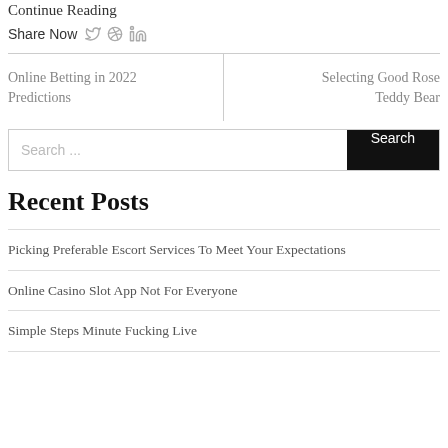Continue Reading
Share Now
Online Betting in 2022 Predictions
Selecting Good Rose Teddy Bear
Search ...
Recent Posts
Picking Preferable Escort Services To Meet Your Expectations
Online Casino Slot App Not For Everyone
Simple Steps Minute Fucking Live